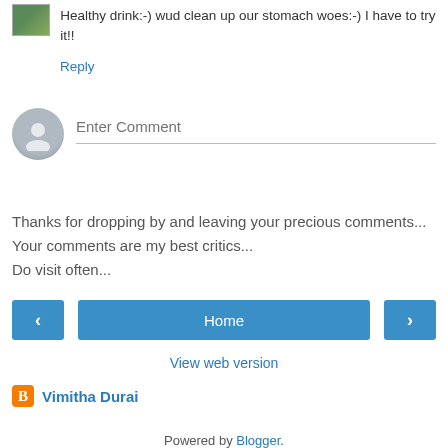Healthy drink:-) wud clean up our stomach woes:-) I have to try it!!
Reply
[Figure (illustration): Enter Comment input field with gray avatar icon]
Thanks for dropping by and leaving your precious comments... Your comments are my best critics... Do visit often...
[Figure (infographic): Navigation buttons: left arrow, Home, right arrow]
View web version
Vimitha Durai
View my complete profile
Powered by Blogger.